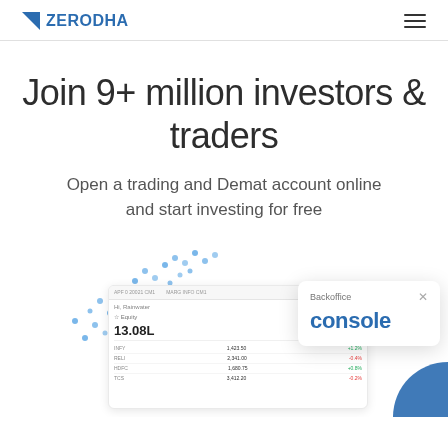ZERODHA
Join 9+ million investors & traders
Open a trading and Demat account online and start investing for free
[Figure (screenshot): Zerodha trading platform UI screenshots showing Kite trading interface with stock data rows and Backoffice console card showing stats: 13.08L (Equity) and 58.31k (Commodity), along with a scatter dot pattern in the background]